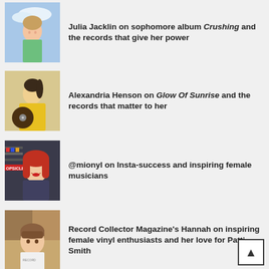[Figure (photo): Photo of Julia Jacklin, a young woman looking upward against a light blue sky background, wearing a green top]
Julia Jacklin on sophomore album Crushing and the records that give her power
[Figure (photo): Photo of Alexandria Henson, a woman in a yellow jacket holding a vinyl record]
Alexandria Henson on Glow Of Sunrise and the records that matter to her
[Figure (photo): Photo of @mionyl, a woman with red hair smiling in a record store]
@mionyl on Insta-success and inspiring female musicians
[Figure (photo): Photo of Record Collector Magazine's Hannah, a woman with bangs and brown hair wearing a white t-shirt]
Record Collector Magazine's Hannah on inspiring female vinyl enthusiasts and her love for Patti Smith